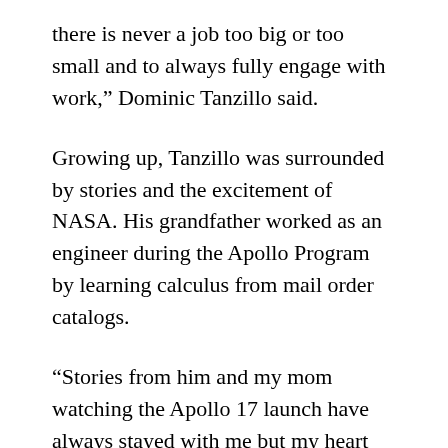there is never a job too big or too small and to always fully engage with work,” Dominic Tanzillo said.
Growing up, Tanzillo was surrounded by stories and the excitement of NASA. His grandfather worked as an engineer during the Apollo Program by learning calculus from mail order catalogs.
“Stories from him and my mom watching the Apollo 17 launch have always stayed with me but my heart has always been in medicine.”
Tanzillo is currently a student at Duke University studying math and neuroscience,